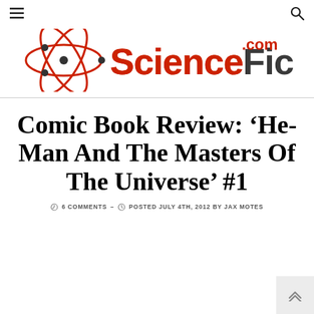≡  [hamburger menu]   [search icon]
[Figure (logo): ScienceFiction.com logo with atom graphic on the left and red/dark gray text]
Comic Book Review: 'He-Man And The Masters Of The Universe' #1
6 COMMENTS –  POSTED JULY 4TH, 2012 BY JAX MOTES